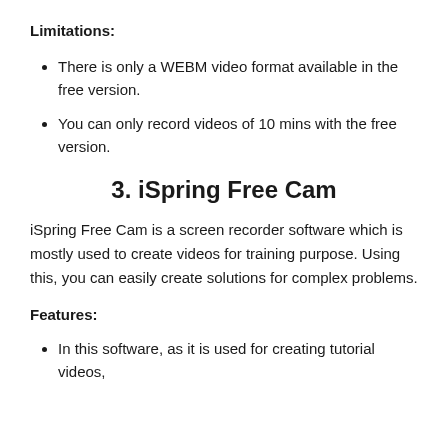Limitations:
There is only a WEBM video format available in the free version.
You can only record videos of 10 mins with the free version.
3. iSpring Free Cam
iSpring Free Cam is a screen recorder software which is mostly used to create videos for training purpose. Using this, you can easily create solutions for complex problems.
Features:
In this software, as it is used for creating tutorial videos,